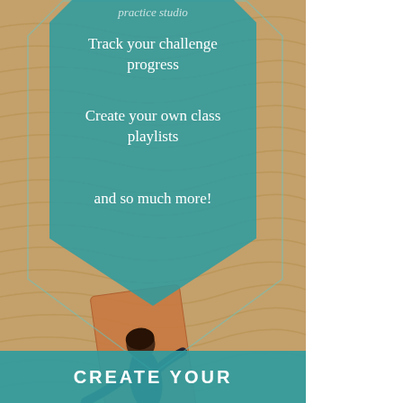[Figure (photo): Aerial view of person lying on yoga mat on sand dunes with rippled sand texture background]
practice studio
Track your challenge progress
Create your own class playlists
and so much more!
CREATE YOUR